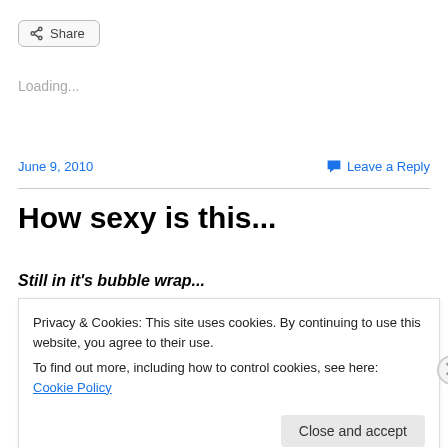[Figure (other): Share button with share icon]
Loading...
June 9, 2010
Leave a Reply
How sexy is this...
Still in it's bubble wrap...
Privacy & Cookies: This site uses cookies. By continuing to use this website, you agree to their use.
To find out more, including how to control cookies, see here: Cookie Policy
Close and accept